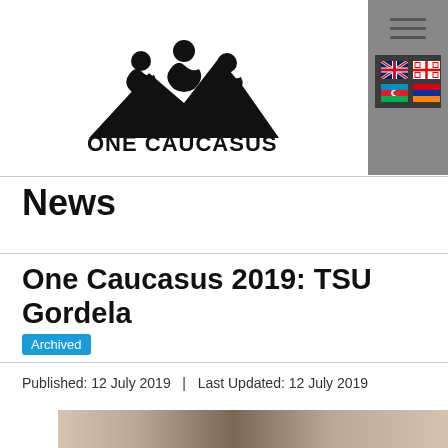[Figure (logo): One Caucasus logo: silhouette of three people sitting together above mountain shapes, with text ONE CAUCASUS below]
[Figure (other): Navigation sidebar with hamburger menu icon and four language flag icons (UK, Georgia, Azerbaijan, Armenia) on dark background]
News
One Caucasus 2019: TSU Gordela
Archived
Published: 12 July 2019   |   Last Updated: 12 July 2019
[Figure (photo): Partial photo of people, cropped at bottom of page]